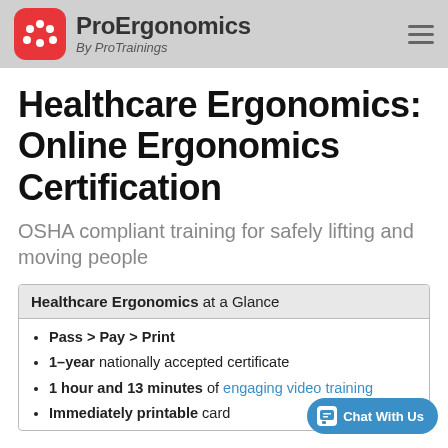ProErgonomics By ProTrainings
Healthcare Ergonomics: Online Ergonomics Certification
OSHA compliant training for safely lifting and moving people
| Healthcare Ergonomics at a Glance |
| --- |
| Pass > Pay > Print |
| 1-year nationally accepted certificate |
| 1 hour and 13 minutes of engaging video training |
| Immediately printable card |